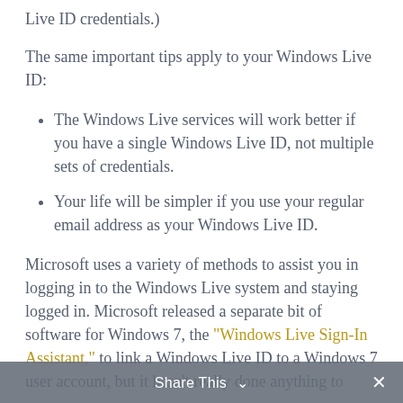Live ID credentials.)
The same important tips apply to your Windows Live ID:
The Windows Live services will work better if you have a single Windows Live ID, not multiple sets of credentials.
Your life will be simpler if you use your regular email address as your Windows Live ID.
Microsoft uses a variety of methods to assist you in logging in to the Windows Live system and staying logged in. Microsoft released a separate bit of software for Windows 7, the “Windows Live Sign-In Assistant,” to link a Windows Live ID to a Windows 7 user account, but it hasn’t really done anything to
Share This